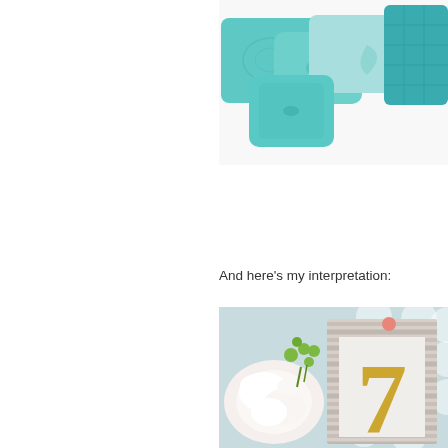[Figure (photo): Collection of teal/aqua decorative throw pillows in various patterns including geometric and textured designs, cropped at right side]
And here's my interpretation:
[Figure (photo): Styled photo showing a light blue polka-dot background with a striped picture frame containing a gold glitter number 7, alongside white peony flowers and green berries]